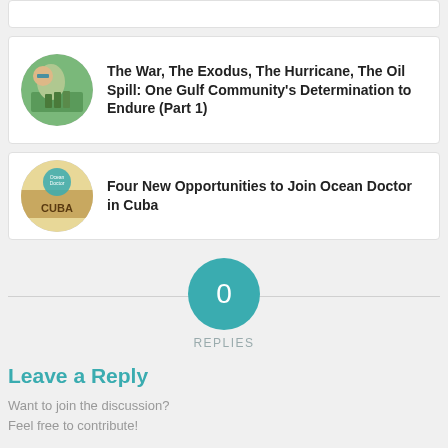[Figure (photo): Circular thumbnail: person with green vegetables]
The War, The Exodus, The Hurricane, The Oil Spill: One Gulf Community's Determination to Endure (Part 1)
[Figure (photo): Circular thumbnail: sand with CUBA written on it and ocean doctor logo]
Four New Opportunities to Join Ocean Doctor in Cuba
0
REPLIES
Leave a Reply
Want to join the discussion?
Feel free to contribute!